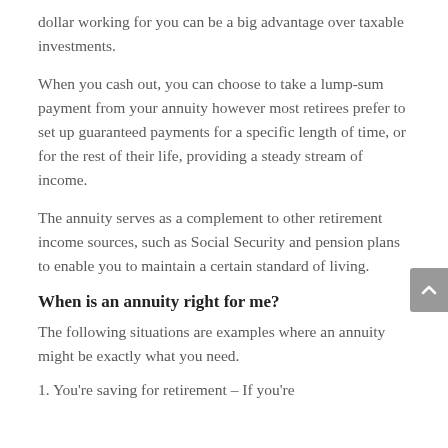dollar working for you can be a big advantage over taxable investments.
When you cash out, you can choose to take a lump-sum payment from your annuity however most retirees prefer to set up guaranteed payments for a specific length of time, or for the rest of their life, providing a steady stream of income.
The annuity serves as a complement to other retirement income sources, such as Social Security and pension plans to enable you to maintain a certain standard of living.
When is an annuity right for me?
The following situations are examples where an annuity might be exactly what you need.
1. You're saving for retirement – If you're